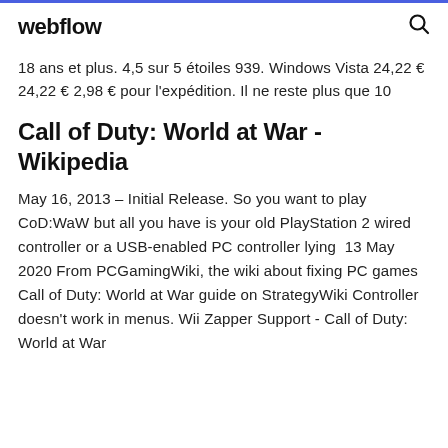webflow
18 ans et plus. 4,5 sur 5 étoiles 939. Windows Vista 24,22 € 24,22 € 2,98 € pour l'expédition. Il ne reste plus que 10
Call of Duty: World at War - Wikipedia
May 16, 2013 – Initial Release. So you want to play CoD:WaW but all you have is your old PlayStation 2 wired controller or a USB-enabled PC controller lying  13 May 2020 From PCGamingWiki, the wiki about fixing PC games Call of Duty: World at War guide on StrategyWiki Controller doesn't work in menus. Wii Zapper Support - Call of Duty: World at War